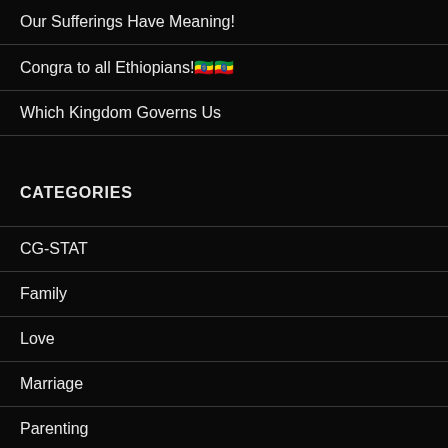Our Sufferings Have Meaning!
Congra to all Ethiopians!🇪🇹🇪🇹
Which Kingdom Governs Us
CATEGORIES
CG-STAT
Family
Love
Marriage
Parenting
Sexual Purity
single